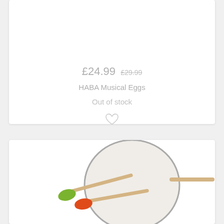£24.99  £29.99
HABA Musical Eggs
Out of stock
[Figure (photo): Partial view of a children's musical toy product — colorful wooden maracas in green and red/orange on a wooden stick, with a round drum/tambourine shape in the background, on a white background.]